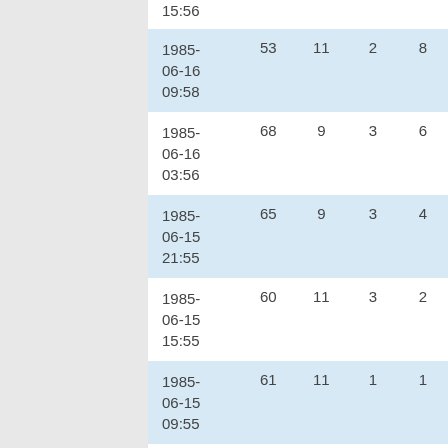| Date | Col1 | Col2 | Col3 | Col4 |
| --- | --- | --- | --- | --- |
| 15:56 |  |  |  |  |
| 1985-06-16 09:58 | 53 | 11 | 2 | 8 |
| 1985-06-16 03:56 | 68 | 9 | 3 | 6 |
| 1985-06-15 21:55 | 65 | 9 | 3 | 4 |
| 1985-06-15 15:55 | 60 | 11 | 3 | 2 |
| 1985-06-15 09:55 | 61 | 11 | 1 | 1 |
| 1985- | 65 | 11 | 2 | 2 |